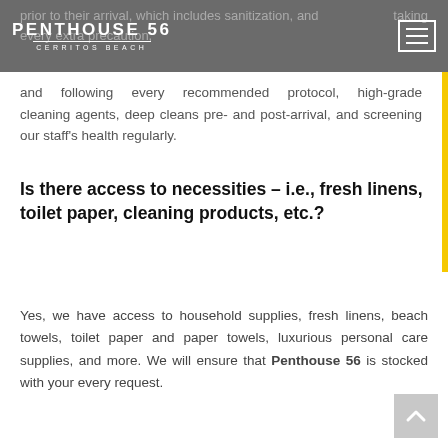PENTHOUSE 56 CERRITOS BEACH
prior to their arrival, which includes sanitization, and taking every extra precaution, and following every recommended protocol, high-grade cleaning agents, deep cleans pre- and post-arrival, and screening our staff's health regularly.
Is there access to necessities – i.e., fresh linens, toilet paper, cleaning products, etc.?
Yes, we have access to household supplies, fresh linens, beach towels, toilet paper and paper towels, luxurious personal care supplies, and more. We will ensure that Penthouse 56 is stocked with your every request.